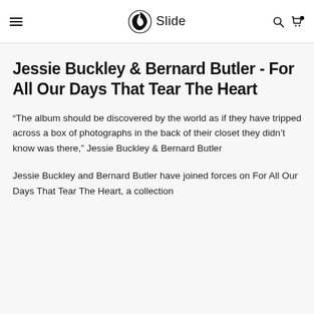Slide
Jessie Buckley & Bernard Butler - For All Our Days That Tear The Heart
“The album should be discovered by the world as if they have tripped across a box of photographs in the back of their closet they didn’t know was there,” Jessie Buckley & Bernard Butler
Jessie Buckley and Bernard Butler have joined forces on For All Our Days That Tear The Heart, a collection